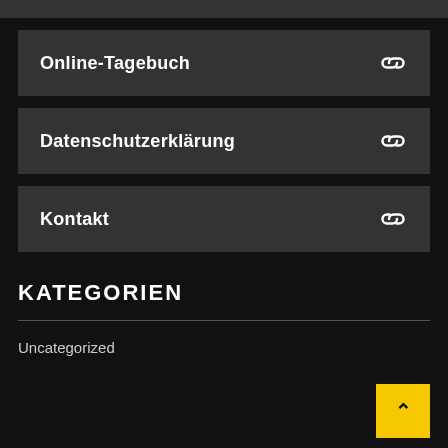Online-Tagebuch
Datenschutzerklärung
Kontakt
KATEGORIEN
Uncategorized